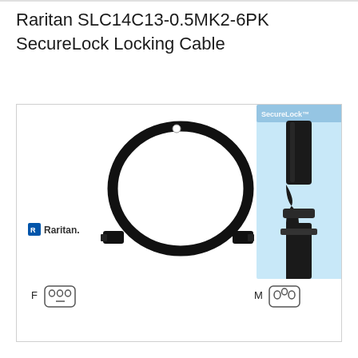Raritan SLC14C13-0.5MK2-6PK SecureLock Locking Cable
[Figure (photo): Product photo of Raritan SLC14C13-0.5MK2-6PK SecureLock Locking Cable. Shows a black power cable coiled in a circle with C14 male connector on one end and C13 female connector on the other, with connector type icons labeled F and M. A second inset photo on the right shows a close-up of the SecureLock connector in light blue background with SecureLock logo text.]